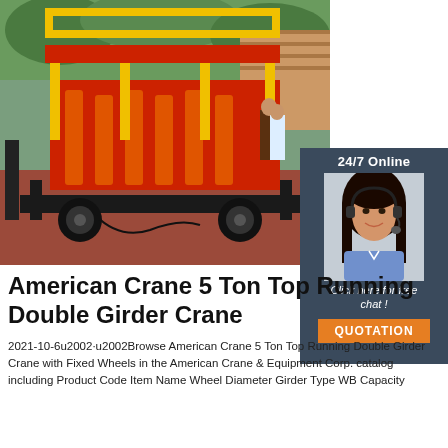[Figure (photo): Red scissor lift / crane equipment with yellow safety railings on a dark metal base with large wheels, outdoors on a red surface with trees and brick building in background. Workers visible near the equipment.]
[Figure (photo): 24/7 Online chat widget panel showing a smiling female customer service agent wearing a headset, with 'Click here for free chat!' text and an orange QUOTATION button.]
American Crane 5 Ton Top Running Double Girder Crane
2021-10-6u2002·u2002Browse American Crane 5 Ton Top Running Double Girder Crane with Fixed Wheels in the American Crane & Equipment Corp. catalog including Product Code Item Name Wheel Diameter Girder Type WB Capacity